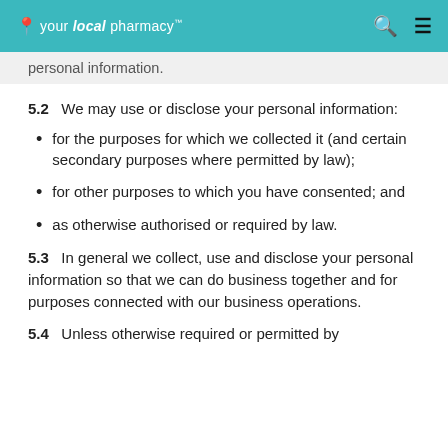your local pharmacy
personal information.
5.2   We may use or disclose your personal information:
for the purposes for which we collected it (and certain secondary purposes where permitted by law);
for other purposes to which you have consented; and
as otherwise authorised or required by law.
5.3   In general we collect, use and disclose your personal information so that we can do business together and for purposes connected with our business operations.
5.4   Unless otherwise required or permitted by